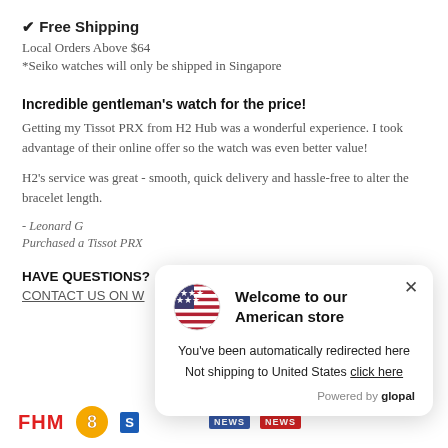✔ Free Shipping
Local Orders Above $64
*Seiko watches will only be shipped in Singapore
Incredible gentleman's watch for the price!
Getting my Tissot PRX from H2 Hub was a wonderful experience. I took advantage of their online offer so the watch was even better value!
H2's service was great - smooth, quick delivery and hassle-free to alter the bracelet length.
- Leonard G
Purchased a Tissot PRX
HAVE QUESTIONS?
CONTACT US ON W
[Figure (screenshot): Welcome to our American store popup with US flag, redirect notice, and Powered by glopal branding]
[Figure (logo): FHM logo in red, Channel 8 logo in yellow-gold, partially visible blue logo, NEWS logos at bottom]